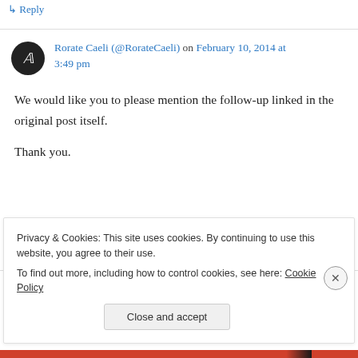↳ Reply
Rorate Caeli (@RorateCaeli) on February 10, 2014 at 3:49 pm
We would like you to please mention the follow-up linked in the original post itself.

Thank you.
↳ Reply
Privacy & Cookies: This site uses cookies. By continuing to use this website, you agree to their use.
To find out more, including how to control cookies, see here: Cookie Policy